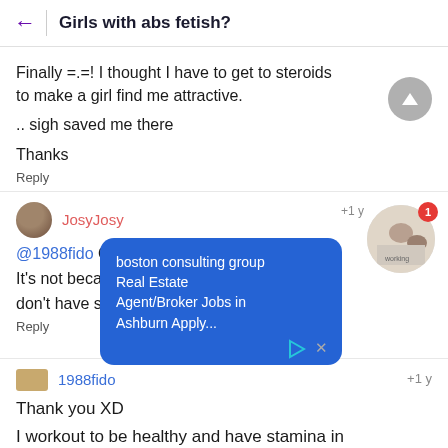Girls with abs fetish?
Finally =.=! I thought I have to get to steroids to make a girl find me attractive.
.. sigh saved me there
Thanks
Reply
JosyJosy
@1988fido O, r... It's not beca... hey don't have strong abs
Reply
[Figure (screenshot): Blue ad bubble overlay: 'boston consulting group Real Estate Agent/Broker Jobs in Ashburn Apply...' with a circular image of people working, a red notification badge with '1', an X close button and a play arrow]
1988fido +1 y
Thank you XD
I workout to be healthy and have stamina in basket and football and cough... something